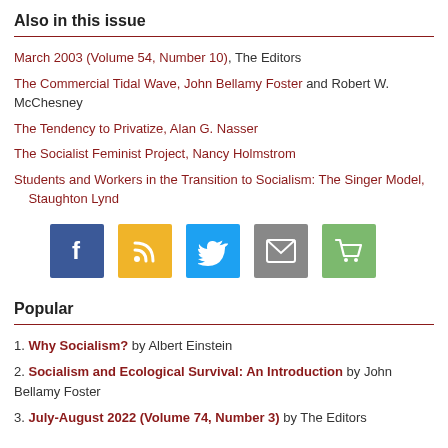Also in this issue
March 2003 (Volume 54, Number 10), The Editors
The Commercial Tidal Wave, John Bellamy Foster and Robert W. McChesney
The Tendency to Privatize, Alan G. Nasser
The Socialist Feminist Project, Nancy Holmstrom
Students and Workers in the Transition to Socialism: The Singer Model, Staughton Lynd
[Figure (other): Five social media/sharing icon buttons: Facebook (blue), RSS (yellow/gold), Twitter (light blue), Email (grey), Cart (green)]
Popular
1. Why Socialism? by Albert Einstein
2. Socialism and Ecological Survival: An Introduction by John Bellamy Foster
3. July-August 2022 (Volume 74, Number 3) by The Editors